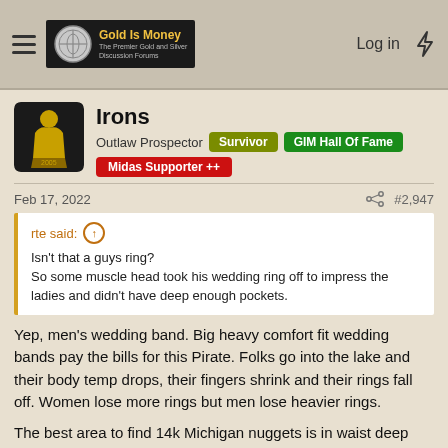Gold Is Money — The Premier Gold and Silver Discussion Forums | Log in
Irons
Outlaw Prospector  Survivor  GIM Hall Of Fame  Midas Supporter ++
Feb 17, 2022   #2,947
rte said: ↑
Isn't that a guys ring?
So some muscle head took his wedding ring off to impress the ladies and didn't have deep enough pockets.
Yep, men's wedding band. Big heavy comfort fit wedding bands pay the bills for this Pirate. Folks go into the lake and their body temp drops, their fingers shrink and their rings fall off. Women lose more rings but men lose heavier rings.
The best area to find 14k Michigan nuggets is in waist deep water at a busy beach.